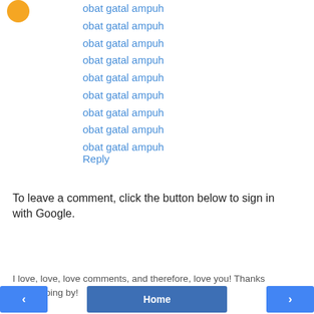obat gatal ampuh
obat gatal ampuh
obat gatal ampuh
obat gatal ampuh
obat gatal ampuh
obat gatal ampuh
obat gatal ampuh
obat gatal ampuh
obat gatal ampuh
Reply
To leave a comment, click the button below to sign in with Google.
SIGN IN WITH GOOGLE
I love, love, love comments, and therefore, love you! Thanks for dropping by!
< Home >